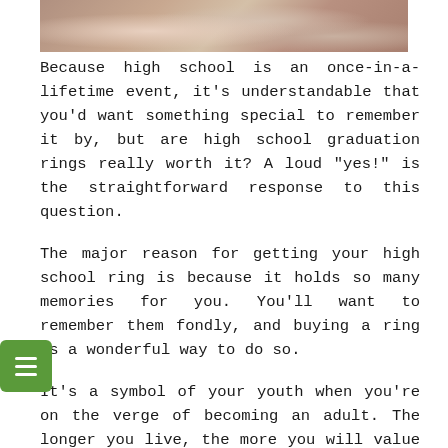[Figure (photo): Close-up photo of hands, likely showing rings or graduation-related imagery]
Because high school is an once-in-a-lifetime event, it's understandable that you'd want something special to remember it by, but are high school graduation rings really worth it? A loud "yes!" is the straightforward response to this question.
The major reason for getting your high school ring is because it holds so many memories for you. You'll want to remember them fondly, and buying a ring is a wonderful way to do so.
It's a symbol of your youth when you're on the verge of becoming an adult. The longer you live, the more you will value the ring and be glad you bought it.
How do you personalize your ring?